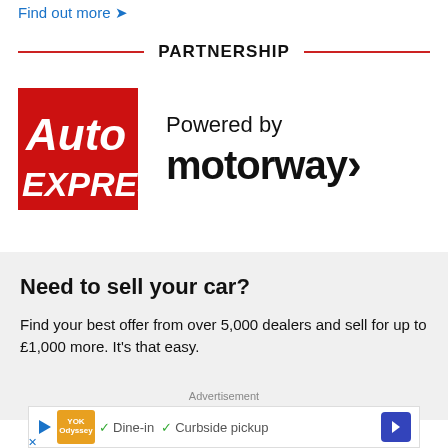Find out more ➤
PARTNERSHIP
[Figure (logo): Auto Express logo — white italic text on red background, and Motorway logo with 'Powered by' text above]
Need to sell your car?
Find your best offer from over 5,000 dealers and sell for up to £1,000 more. It's that easy.
Advertisement
[Figure (other): Advertisement banner: Yok Odyssey logo, Dine-in, Curbside pickup options, navigation arrow button]